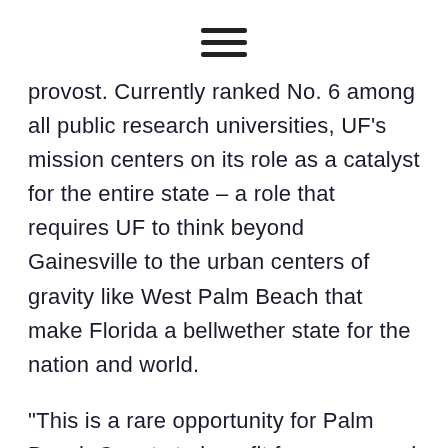[hamburger menu icon]
provost. Currently ranked No. 6 among all public research universities, UF's mission centers on its role as a catalyst for the entire state – a role that requires UF to think beyond Gainesville to the urban centers of gravity like West Palm Beach that make Florida a bellwether state for the nation and world.
“This is a rare opportunity for Palm Beach County to benefit from a second public university – one that complements and enriches our current education ecosystem in ways that will position us to be irresistible to the types of companies that our economic development partners work so hard to